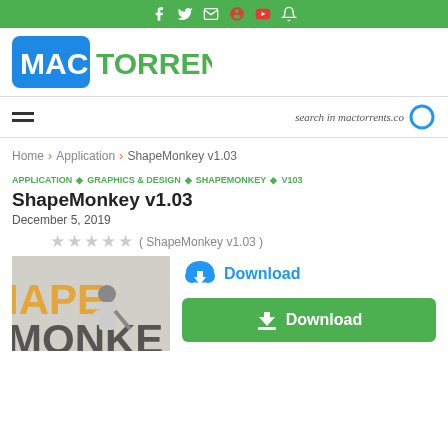MAC TORRENTS — social media icons bar
[Figure (logo): MacTorrents logo with MAC in white on blue background and TORRENTS in green]
Navigation bar with hamburger menu and search hint: search in mactorrents.co
Home › Application › ShapeMonkey v1.03
APPLICATION ◆ GRAPHICS & DESIGN ◆ SHAPEMONKEY ◆ V103
ShapeMonkey v1.03
December 5, 2019
★★★★★ ( ShapeMonkey v1.03 )
[Figure (photo): ShapeMonkey product image showing text IAPEMONKE with a person in white coat]
Download (cloud icon link)
Download (green button)